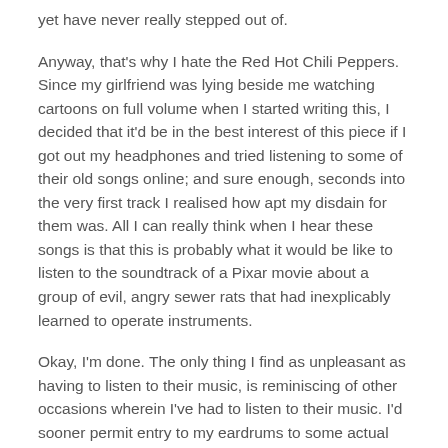yet have never really stepped out of.
Anyway, that's why I hate the Red Hot Chili Peppers. Since my girlfriend was lying beside me watching cartoons on full volume when I started writing this, I decided that it'd be in the best interest of this piece if I got out my headphones and tried listening to some of their old songs online; and sure enough, seconds into the very first track I realised how apt my disdain for them was. All I can really think when I hear these songs is that this is probably what it would be like to listen to the soundtrack of a Pixar movie about a group of evil, angry sewer rats that had inexplicably learned to operate instruments.
Okay, I'm done. The only thing I find as unpleasant as having to listen to their music, is reminiscing of other occasions wherein I've had to listen to their music. I'd sooner permit entry to my eardrums to some actual red hot chilli peppers.